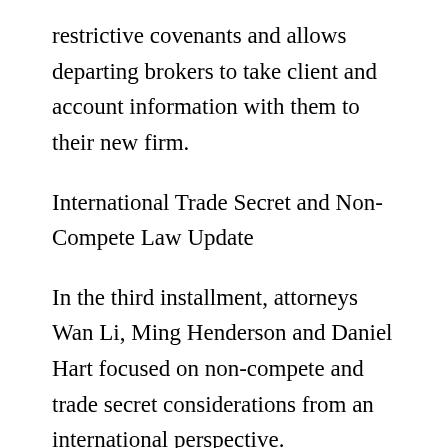restrictive covenants and allows departing brokers to take client and account information with them to their new firm.
International Trade Secret and Non-Compete Law Update
In the third installment, attorneys Wan Li, Ming Henderson and Daniel Hart focused on non-compete and trade secret considerations from an international perspective.
Specifically, the webinar involved a